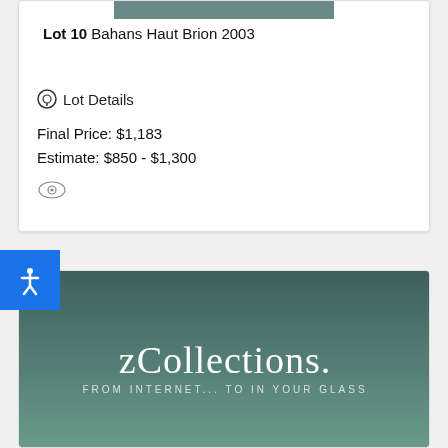[Figure (photo): Top portion of auction lot image, dark teal/gray color]
Lot 10 Bahans Haut Brion 2003
Lot Details
Final Price: $1,183
Estimate: $850 - $1,300
[Figure (logo): zCollections logo - FROM INTERNET... TO IN YOUR GLASS - dark teal background with white text]